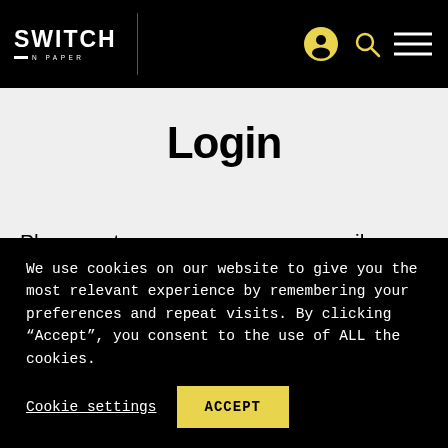SWITCH ON PAPER
Login
Please enter your username or email address. You will receive a link to create a new password via email.
We use cookies on our website to give you the most relevant experience by remembering your preferences and repeat visits. By clicking “Accept”, you consent to the use of ALL the cookies.
Cookie settings   ACCEPT